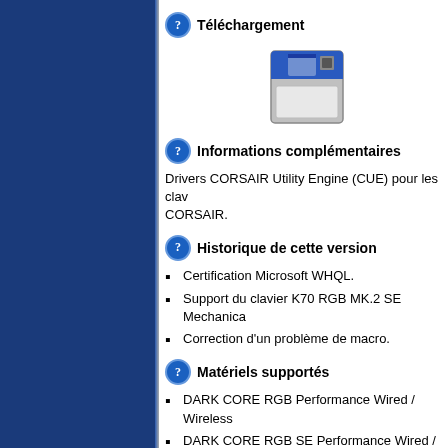Téléchargement
[Figure (illustration): Floppy disk save icon]
Informations complémentaires
Drivers CORSAIR Utility Engine (CUE) pour les claviers CORSAIR.
Historique de cette version
Certification Microsoft WHQL.
Support du clavier K70 RGB MK.2 SE Mechanica
Correction d'un problème de macro.
Matériels supportés
DARK CORE RGB Performance Wired / Wireless
DARK CORE RGB SE Performance Wired / Wire Charging (CH-9315111)
GLAIVE RGB Gaming Mouse - Aluminum (CH-9
GLAIVE RGB Gaming Mouse - Black (CH-93020
HARPOON RGB Gaming Mouse (CH-9301011)
M65 Gaming Mouse - Aluminum (CH-...